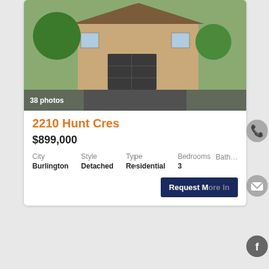[Figure (photo): Exterior photo of a detached brick house with double garage door and driveway surrounded by trees]
38 photos
2210 Hunt Cres
$899,000
| City | Style | Type | Bedrooms | Bathrooms |
| --- | --- | --- | --- | --- |
| Burlington | Detached | Residential | 3 |  |
Request More Info
[Figure (photo): Exterior photo of a two-storey white and brick house with attached garage, blue trim windows and driveway]
14 photos
158 Kovac Rd, Hamelen (Cambridge)